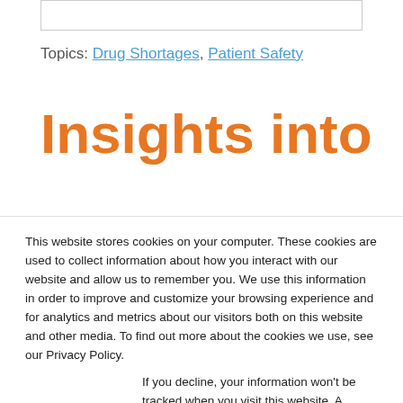Topics: Drug Shortages, Patient Safety
Insights into
This website stores cookies on your computer. These cookies are used to collect information about how you interact with our website and allow us to remember you. We use this information in order to improve and customize your browsing experience and for analytics and metrics about our visitors both on this website and other media. To find out more about the cookies we use, see our Privacy Policy.
If you decline, your information won’t be tracked when you visit this website. A single cookie will be used in your browser to remember your preference not to be tracked.
Accept
Decline